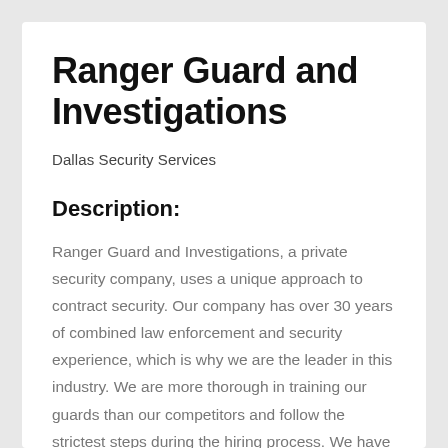Ranger Guard and Investigations
Dallas Security Services
Description:
Ranger Guard and Investigations, a private security company, uses a unique approach to contract security. Our company has over 30 years of combined law enforcement and security experience, which is why we are the leader in this industry. We are more thorough in training our guards than our competitors and follow the strictest steps during the hiring process. We have a proactive approach and involve having well-groomed, trained, and mostly veterans from the U.S. Army as our